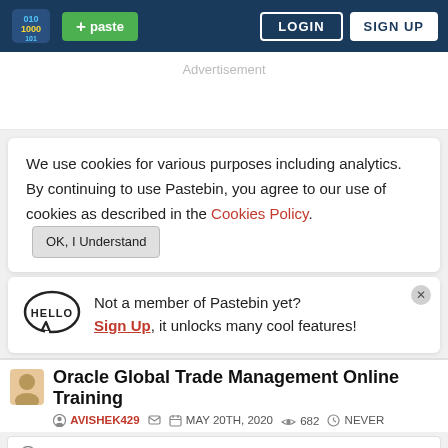Pastebin header with logo, + paste button, LOGIN and SIGN UP buttons
Advertisement
We use cookies for various purposes including analytics. By continuing to use Pastebin, you agree to our use of cookies as described in the Cookies Policy.  OK, I Understand
Not a member of Pastebin yet? Sign Up, it unlocks many cool features!
Oracle Global Trade Management Online Training
AVISHEK429  MAY 20TH, 2020  682  NEVER
Not a member of Pastebin yet? Sign Up, it unlocks many cool features!